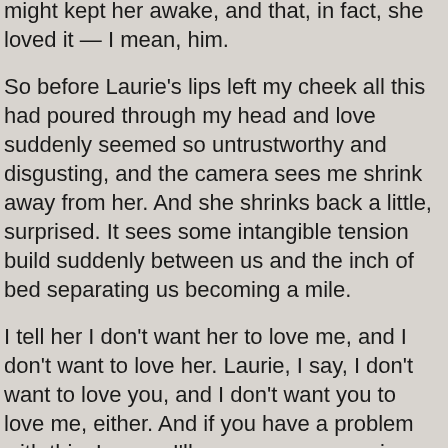might kept her awake, and that, in fact, she loved it — I mean, him.

So before Laurie's lips left my cheek all this had poured through my head and love suddenly seemed so untrustworthy and disgusting, and the camera sees me shrink away from her. And she shrinks back a little, surprised. It sees some intangible tension build suddenly between us and the inch of bed separating us becoming a mile.

I tell her I don't want her to love me, and I don't want to love her. Laurie, I say, I don't want to love you, and I don't want you to love me, either. And if you have a problem with this, I guess I'll never see you again. And the mile becomes a universe. But the camera watches her strain and stretch her arms across that infinite distance. She kisses me on the lips and the cheek and forehead and keeps telling me that I know it's not true. And she asks me to please, please, please say that I hadn't meant